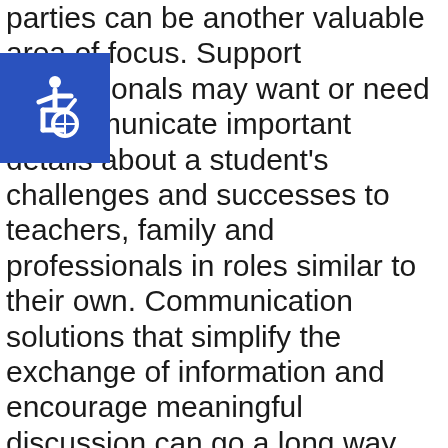parties can be another valuable area of focus. Support professionals may want or need to communicate important details about a student's challenges and successes to teachers, family and professionals in roles similar to their own. Communication solutions that simplify the exchange of information and encourage meaningful discussion can go a long way toward supporting positive outcomes for students.
[Figure (illustration): Blue square icon with white wheelchair accessibility symbol (person in wheelchair)]